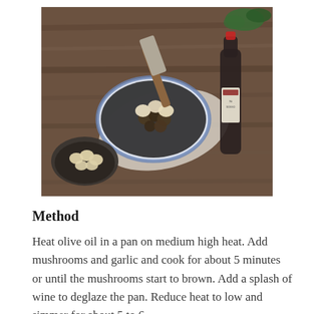[Figure (photo): Overhead food photography shot on a dark wooden table showing two bowls — a large blue-and-white ceramic bowl with mushrooms and gnocchi/dumplings with a wooden-handled grater, and a smaller dark bowl with more dumplings — alongside a wine bottle and a linen cloth, with fresh herbs in the corner.]
Method
Heat olive oil in a pan on medium high heat. Add mushrooms and garlic and cook for about 5 minutes or until the mushrooms start to brown. Add a splash of wine to deglaze the pan. Reduce heat to low and simmer for about 5 to 6